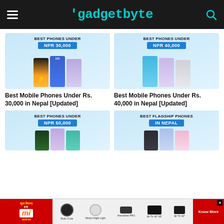gadgetbyte
[Figure (photo): Best Phones Under NPR 30,000 banner with multiple smartphones]
Best Mobile Phones Under Rs. 30,000 in Nepal [Updated]
[Figure (photo): Best Phones Under NPR 40,000 banner with multiple smartphones]
Best Mobile Phones Under Rs. 40,000 in Nepal [Updated]
[Figure (photo): Best Phones Under NPR 50,000 banner with multiple smartphones]
[Figure (photo): Best Flagship Phones in Nepal banner with multiple smartphones]
[Figure (photo): Mi advertisement banner with products and Know More button]